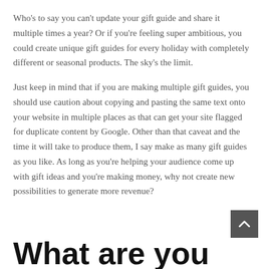Who's to say you can't update your gift guide and share it multiple times a year? Or if you're feeling super ambitious, you could create unique gift guides for every holiday with completely different or seasonal products. The sky's the limit.
Just keep in mind that if you are making multiple gift guides, you should use caution about copying and pasting the same text onto your website in multiple places as that can get your site flagged for duplicate content by Google. Other than that caveat and the time it will take to produce them, I say make as many gift guides as you like. As long as you're helping your audience come up with gift ideas and you're making money, why not create new possibilities to generate more revenue?
What are you